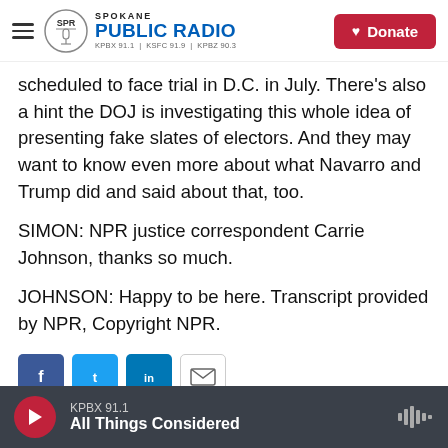Spokane Public Radio — KPBX 91.1 | KSFC 91.9 | KPBZ 90.3 | Donate
scheduled to face trial in D.C. in July. There's also a hint the DOJ is investigating this whole idea of presenting fake slates of electors. And they may want to know even more about what Navarro and Trump did and said about that, too.
SIMON: NPR justice correspondent Carrie Johnson, thanks so much.
JOHNSON: Happy to be here. Transcript provided by NPR, Copyright NPR.
[Figure (other): Social sharing buttons: Facebook, Twitter, LinkedIn, Email]
KPBX 91.1 — All Things Considered